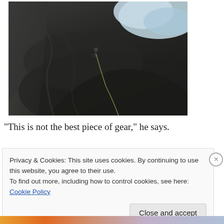[Figure (photo): A rock climber scaling a large dark rocky cliff face, viewed from below. The sky with some clouds is visible in the upper left corner. A rope is visible hanging down the rock face.]
“This is not the best piece of gear,” he says.
Privacy & Cookies: This site uses cookies. By continuing to use this website, you agree to their use.
To find out more, including how to control cookies, see here: Cookie Policy